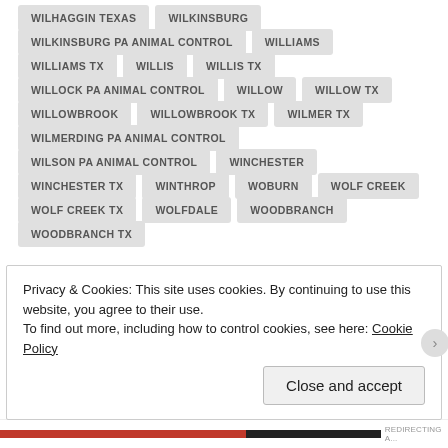WILHAGGIN TEXAS
WILKINSBURG
WILKINSBURG PA ANIMAL CONTROL
WILLIAMS
WILLIAMS TX
WILLIS
WILLIS TX
WILLOCK PA ANIMAL CONTROL
WILLOW
WILLOW TX
WILLOWBROOK
WILLOWBROOK TX
WILMER TX
WILMERDING PA ANIMAL CONTROL
WILSON PA ANIMAL CONTROL
WINCHESTER
WINCHESTER TX
WINTHROP
WOBURN
WOLF CREEK
WOLF CREEK TX
WOLFDALE
WOODBRANCH
WOODBRANCH TX
Privacy & Cookies: This site uses cookies. By continuing to use this website, you agree to their use.
To find out more, including how to control cookies, see here: Cookie Policy